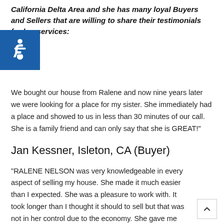California Delta Area and she has many loyal Buyers and Sellers that are willing to share their testimonials for her services:
We bought our house from Ralene and now nine years later we were looking for a place for my sister. She immediately had a place and showed to us in less than 30 minutes of our call. She is a family friend and can only say that she is GREAT!"
Jan Kessner, Isleton, CA (Buyer)
“RALENE NELSON was very knowledgeable in every aspect of selling my house. She made it much easier than I expected. She was a pleasure to work with. It took longer than I thought it should to sell but that was not in her control due to the economy. She gave me great advice and guidance all the way to closing. No complaints. Thank you Ralene❤️”